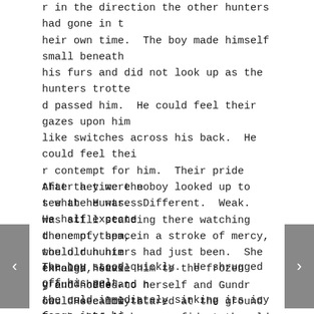r in the direction the other hunters had gone in their own time.  The boy made himself small beneath his furs and did not look up as the hunters trotted passed him.  He could feel their gazes upon him like switches across his back.  He could feel their contempt for him.  Their pride that they were not what he was.  Different.  Weak.  He half expected one of them, in a stroke of mercy, would run him through, stake him to the frozen ground here and now.  He calmly stared at the ground between his feet as the wind taunted him with its hissing laughter.
After a time the boy looked up to see the Huntress was still standing there watching the empty space the old hunters had just been.  She exhaled heavily and nodded to herself and Gundr could see now that she hadn't been confident the old hunters would accompany her.  She turned towards him and began to run toward the others.
The boy stood quickly.  He shrugged off his pelt, the cold immediately sinking its icy fangs into his blued skin.  He bit his tongue fiercely, the pain and the taste of blood barely enough to keep his